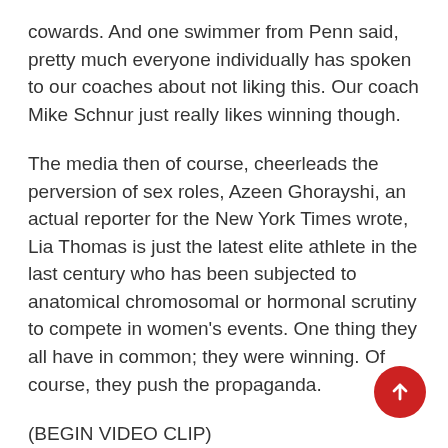cowards. And one swimmer from Penn said, pretty much everyone individually has spoken to our coaches about not liking this. Our coach Mike Schnur just really likes winning though.
The media then of course, cheerleads the perversion of sex roles, Azeen Ghorayshi, an actual reporter for the New York Times wrote, Lia Thomas is just the latest elite athlete in the last century who has been subjected to anatomical chromosomal or hormonal scrutiny to compete in women's events. One thing they all have in common; they were winning. Of course, they push the propaganda.
(BEGIN VIDEO CLIP)
UNIDENTIFIED FEMALE: So, what is your